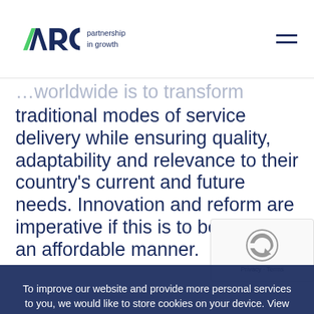ARQ partnership in growth
…worldwide is to transform traditional modes of service delivery while ensuring quality, adaptability and relevance to their country's current and future needs. Innovation and reform are imperative if this is to be done in an affordable manner.
Innovation is key in optimising operational efficiency and exploring new ways to commercialise activities. Innovation is indicated in seeking new 'rules of engagement' for partnering with the private sector for service delivery – without compromising on fair competition and
To improve our website and provide more personal services to you, we would like to store cookies on your device. View our updated Privacy Policy.
I ACCEPT